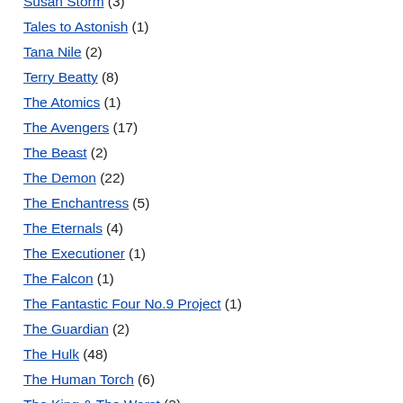Susan Storm (3)
Tales to Astonish (1)
Tana Nile (2)
Terry Beatty (8)
The Atomics (1)
The Avengers (17)
The Beast (2)
The Demon (22)
The Enchantress (5)
The Eternals (4)
The Executioner (1)
The Falcon (1)
The Fantastic Four No.9 Project (1)
The Guardian (2)
The Hulk (48)
The Human Torch (6)
The King & The Worst (2)
The Mask of Doom 451 (1)
The Presence (1)